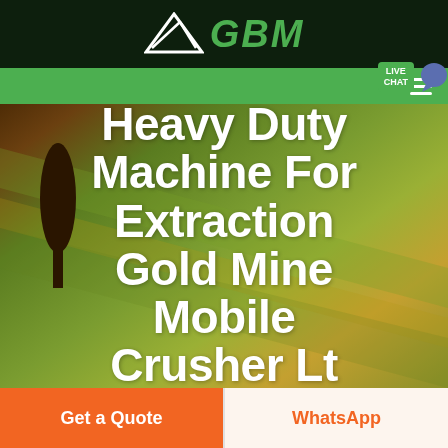[Figure (logo): GBM company logo with white arrow/chevron icon and green italic GBM text on dark background]
[Figure (screenshot): Green navigation bar with hamburger menu icon and LIVE CHAT bubble in top right]
[Figure (photo): Aerial photo of agricultural fields with a tree silhouette on the left, various shades of green and golden farmland]
Heavy Duty Machine For Extraction Gold Mine Mobile Crusher Lt
Get a Quote
WhatsApp